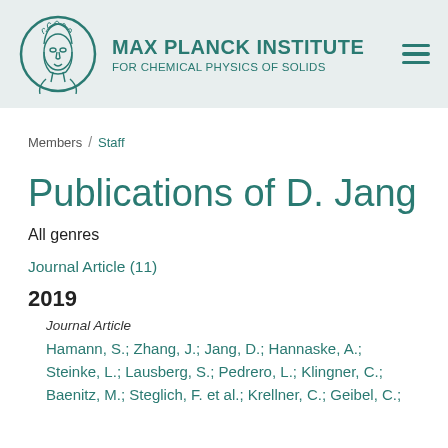MAX PLANCK INSTITUTE FOR CHEMICAL PHYSICS OF SOLIDS
Members / Staff
Publications of D. Jang
All genres
Journal Article (11)
2019
Journal Article
Hamann, S.; Zhang, J.; Jang, D.; Hannaske, A.; Steinke, L.; Lausberg, S.; Pedrero, L.; Klingner, C.; Baenitz, M.; Steglich, F. et al.; Krellner, C.; Geibel, C.;